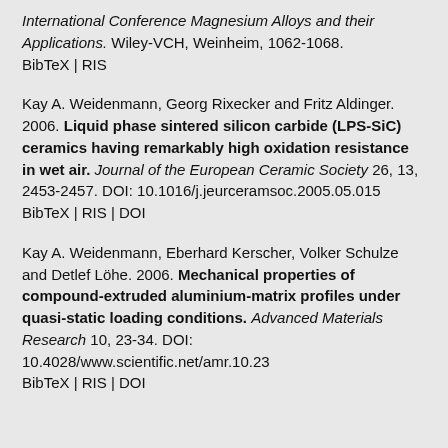International Conference Magnesium Alloys and their Applications. Wiley-VCH, Weinheim, 1062-1068. BibTeX | RIS
Kay A. Weidenmann, Georg Rixecker and Fritz Aldinger. 2006. Liquid phase sintered silicon carbide (LPS-SiC) ceramics having remarkably high oxidation resistance in wet air. Journal of the European Ceramic Society 26, 13, 2453-2457. DOI: 10.1016/j.jeurceramsoc.2005.05.015 BibTeX | RIS | DOI
Kay A. Weidenmann, Eberhard Kerscher, Volker Schulze and Detlef Löhe. 2006. Mechanical properties of compound-extruded aluminium-matrix profiles under quasi-static loading conditions. Advanced Materials Research 10, 23-34. DOI: 10.4028/www.scientific.net/amr.10.23 BibTeX | RIS | DOI